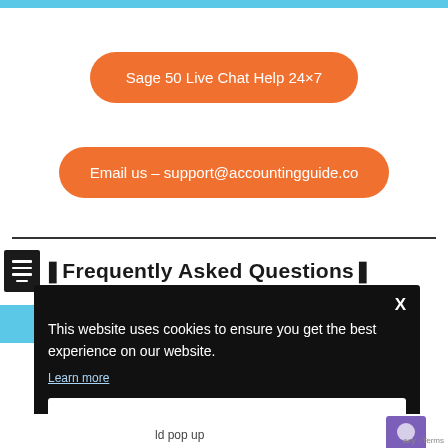[Figure (screenshot): Top cyan/blue bar across page top]
Sage 50 Live Chat Help 24×7
Email us – support@accountingguide.co
❚Frequently Asked Questions❚
[Figure (screenshot): Cookie consent popup overlay with black background. Shows text: 'This website uses cookies to ensure you get the best experience on our website.' with a 'Learn more' link and a 'Got it' button. Has an X close button.]
ld pop up